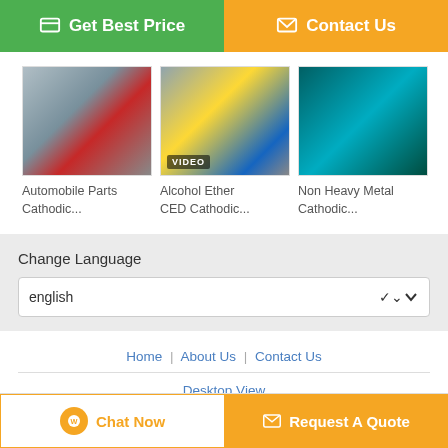[Figure (other): Green Get Best Price button and orange Contact Us button at top]
[Figure (photo): Automobile parts cathodic electrodeposition coating machinery photo]
Automobile Parts Cathodic...
[Figure (photo): Alcohol Ether CED Cathodic video thumbnail with VIDEO badge]
Alcohol Ether CED Cathodic...
[Figure (photo): Non Heavy Metal Cathodic electrodeposition coating photo]
Non Heavy Metal Cathodic...
Change Language
english
Home | About Us | Contact Us
Desktop View
Copyright © 2018 - 2022 ed-paint.com. All rights reserved.
[Figure (other): Chat Now and Request A Quote bottom action buttons]